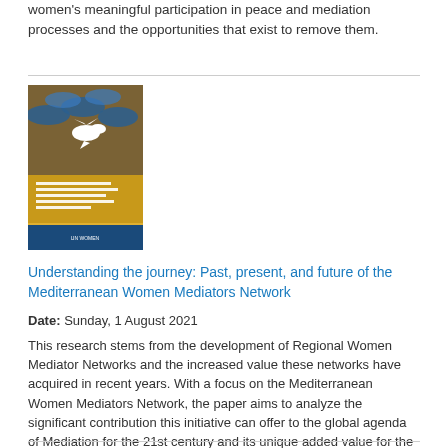women's meaningful participation in peace and mediation processes and the opportunities that exist to remove them.
[Figure (illustration): Book cover for 'Understanding the journey: Past, present, and future of the Mediterranean Women Mediators Network'. Cover shows a white dove on a blue and brown background with text.]
Understanding the journey: Past, present, and future of the Mediterranean Women Mediators Network
Date: Sunday, 1 August 2021
This research stems from the development of Regional Women Mediator Networks and the increased value these networks have acquired in recent years. With a focus on the Mediterranean Women Mediators Network, the paper aims to analyze the significant contribution this initiative can offer to the global agenda of Mediation for the 21st century and its unique added value for the next 20 years of the women, peace, and security agenda.